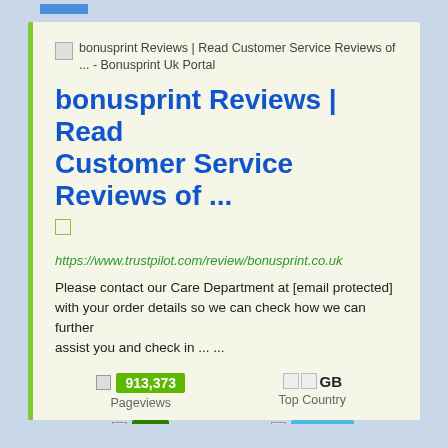[Figure (screenshot): Website info card for bonusprint Reviews on Trustpilot showing pageviews, top country, site status, and last pinged stats]
bonusprint Reviews | Read Customer Service Reviews of ... - Bonusprint Uk Portal
bonusprint Reviews | Read Customer Service Reviews of ...
https://www.trustpilot.com/review/bonusprint.co.uk
Please contact our Care Department at [email protected] with your order details so we can check how we can further assist you and check in ... ...
| Metric | Value |
| --- | --- |
| Pageviews | 913,373 |
| Top Country | GB |
| Site Status | Up |
| Last Pinged | 1h ago |